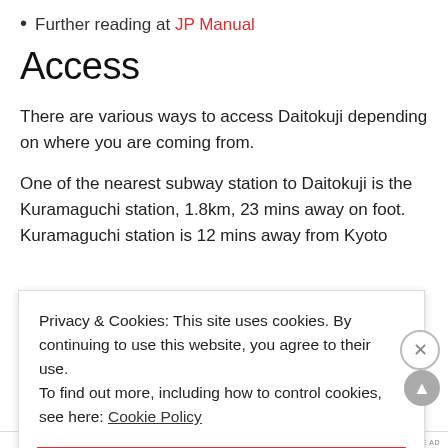Further reading at JP Manual
Access
There are various ways to access Daitokuji depending on where you are coming from.
One of the nearest subway station to Daitokuji is the Kuramaguchi station, 1.8km, 23 mins away on foot. Kuramaguchi station is 12 mins away from Kyoto
Privacy & Cookies: This site uses cookies. By continuing to use this website, you agree to their use.
To find out more, including how to control cookies, see here: Cookie Policy
CLOSE AND ACCEPT